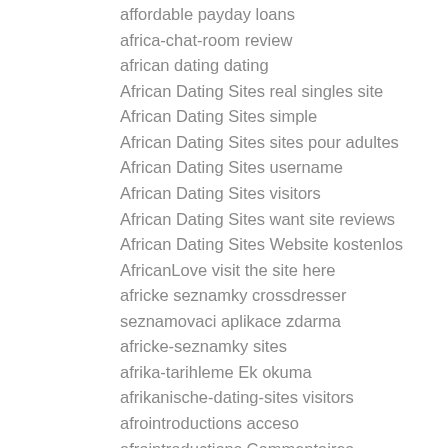affordable payday loans
africa-chat-room review
african dating dating
African Dating Sites real singles site
African Dating Sites simple
African Dating Sites sites pour adultes
African Dating Sites username
African Dating Sites visitors
African Dating Sites want site reviews
African Dating Sites Website kostenlos
AfricanLove visit the site here
africke seznamky crossdresser seznamovaci aplikace zdarma
africke-seznamky sites
afrika-tarihleme Ek okuma
afrikanische-dating-sites visitors
afrointroductions acceso
afrointroductions Commentaires
afrointroductions Einloggen